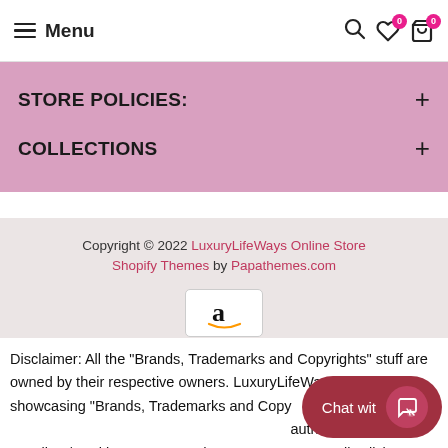Menu
STORE POLICIES:
COLLECTIONS
Copyright © 2022 LuxuryLifeWays Online Store Shopify Themes by Papathemes.com
[Figure (logo): Amazon logo with stylized 'a' letter]
Disclaimer: All the "Brands, Trademarks and Copyrights" stuff are owned by their respective owners. LuxuryLifeWays Online Store showcasing "Brands, Trademarks and Copyrights" from their authorized suppliers/stockists. For more details click "Contact Us" or Read "Terms Of Service".